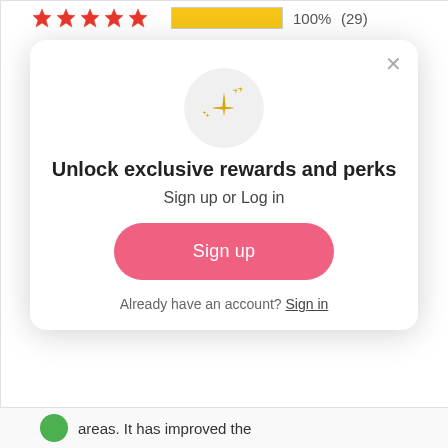[Figure (infographic): Star rating distribution bar chart showing 5-star=100%(29), 4-star=0%(0), 3-star=0%(0), 2-star=0%(0), 1-star=0%(0)]
[Figure (screenshot): Modal popup with sparkles icon, title 'Unlock exclusive rewards and perks', subtitle 'Sign up or Log in', pink Sign up button, and 'Already have an account? Sign in' link]
areas. It has improved the